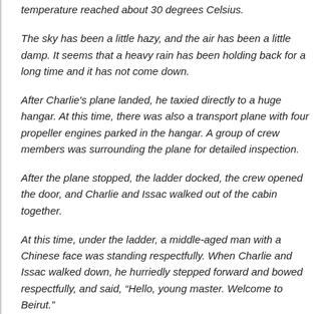temperature reached about 30 degrees Celsius.
The sky has been a little hazy, and the air has been a little damp. It seems that a heavy rain has been holding back for a long time and it has not come down.
After Charlie's plane landed, he taxied directly to a huge hangar. At this time, there was also a transport plane with four propeller engines parked in the hangar. A group of crew members was surrounding the plane for detailed inspection.
After the plane stopped, the ladder docked, the crew opened the door, and Charlie and Issac walked out of the cabin together.
At this time, under the ladder, a middle-aged man with a Chinese face was standing respectfully. When Charlie and Issac walked down, he hurriedly stepped forward and bowed respectfully, and said, “Hello, young master. Welcome to Beirut.”